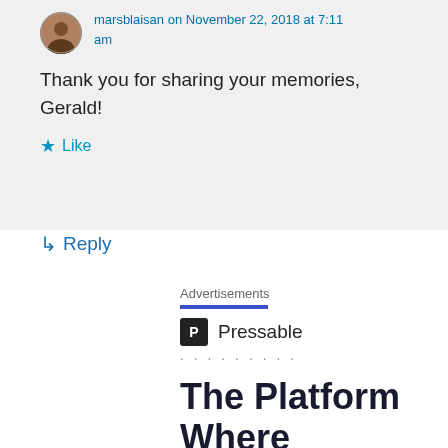marsblaisan on November 22, 2018 at 7:11 am
Thank you for sharing your memories, Gerald!
★ Like
↳ Reply
Advertisements
[Figure (logo): Pressable logo with black square icon containing letter P and the text Pressable]
The Platform Where WordPress Works Best
SEE PRICING